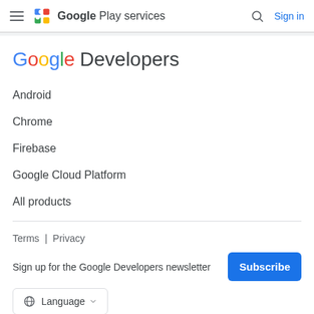Google Play services — Sign in
Google Developers
Android
Chrome
Firebase
Google Cloud Platform
All products
Terms | Privacy
Sign up for the Google Developers newsletter
Language